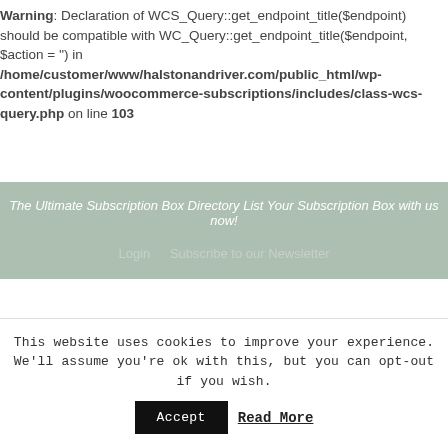Warning: Declaration of WCS_Query::get_endpoint_title($endpoint) should be compatible with WC_Query::get_endpoint_title($endpoint, $action = '') in /home/customer/www/halstonandriver.com/public_html/wp-content/plugins/woocommerce-subscriptions/includes/class-wcs-query.php on line 103
The Ultimate Subscription Box Directory List Your Subscription Box with us now!
Login   Subscribe to our Newsletter
This website uses cookies to improve your experience. We'll assume you're ok with this, but you can opt-out if you wish.
Accept  Read More